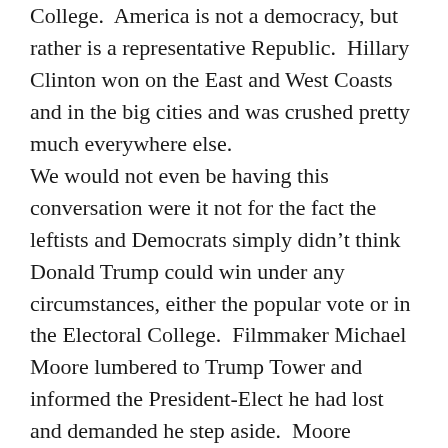College.  America is not a democracy, but rather is a representative Republic.  Hillary Clinton won on the East and West Coasts and in the big cities and was crushed pretty much everywhere else.
We would not even be having this conversation were it not for the fact the leftists and Democrats simply didn’t think Donald Trump could win under any circumstances, either the popular vote or in the Electoral College.  Filmmaker Michael Moore lumbered to Trump Tower and informed the President-Elect he had lost and demanded he step aside.  Moore published the rest of his “to-do list” on Twitter, which was to abolish the Electoral College, electronic voting and “restore the voting rights of former prisoners.”  By “prisoners”, he means convicts and ignores the fact felons have the